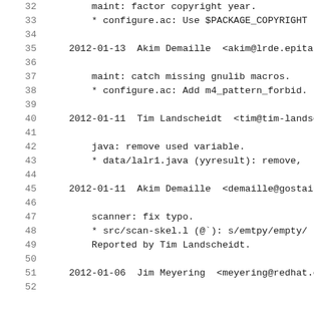32        maint: factor copyright year.
33        * configure.ac: Use $PACKAGE_COPYRIGHT
34
35    2012-01-13  Akim Demaille  <akim@lrde.epita.fr
36
37        maint: catch missing gnulib macros.
38        * configure.ac: Add m4_pattern_forbid.
39
40    2012-01-11  Tim Landscheidt  <tim@tim-landsche
41
42        java: remove used variable.
43        * data/lalr1.java (yyresult): remove,
44
45    2012-01-11  Akim Demaille  <demaille@gostai.co
46
47        scanner: fix typo.
48        * src/scan-skel.l (@`): s/emtpy/empty/
49        Reported by Tim Landscheidt.
50
51    2012-01-06  Jim Meyering  <meyering@redhat.com
52